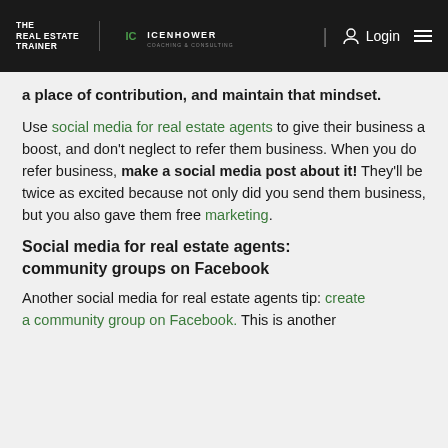THE REAL ESTATE TRAINER | ICENHOWER COACHING & CONSULTING | Login
a place of contribution, and maintain that mindset.
Use social media for real estate agents to give their business a boost, and don't neglect to refer them business. When you do refer business, make a social media post about it! They'll be twice as excited because not only did you send them business, but you also gave them free marketing.
Social media for real estate agents: community groups on Facebook
Another social media for real estate agents tip: create a community group on Facebook. This is another